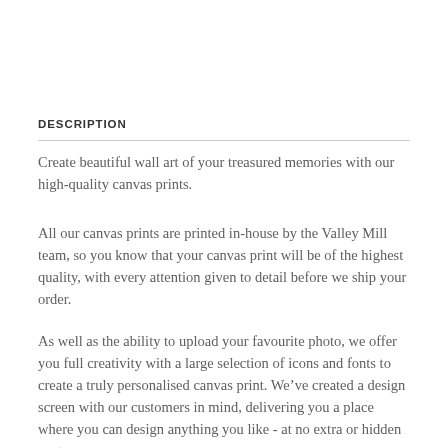DESCRIPTION
Create beautiful wall art of your treasured memories with our high-quality canvas prints.
All our canvas prints are printed in-house by the Valley Mill team, so you know that your canvas print will be of the highest quality, with every attention given to detail before we ship your order.
As well as the ability to upload your favourite photo, we offer you full creativity with a large selection of icons and fonts to create a truly personalised canvas print. We’ve created a design screen with our customers in mind, delivering you a place where you can design anything you like - at no extra or hidden cost.